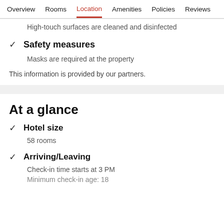Overview  Rooms  Location  Amenities  Policies  Reviews
High-touch surfaces are cleaned and disinfected
Safety measures
Masks are required at the property
This information is provided by our partners.
At a glance
Hotel size
58 rooms
Arriving/Leaving
Check-in time starts at 3 PM
Minimum check-in age: 18